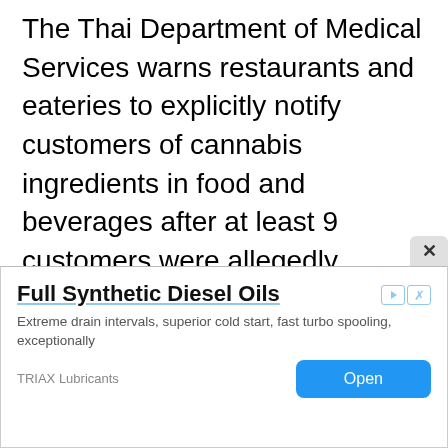The Thai Department of Medical Services warns restaurants and eateries to explicitly notify customers of cannabis ingredients in food and beverages after at least 9 customers were allegedly delivered to the hospital from cannabis abuse and consumption.
Dr. Manus Potaporn, Deputy Director-General of the Department of Medical Services, reported that nine patients were affected by the use of cannabis and were being treated at local hospitals. The reported side effects include heart palpitations
[Figure (other): Advertisement overlay for Full Synthetic Diesel Oils by TRIAX Lubricants with an Open button]